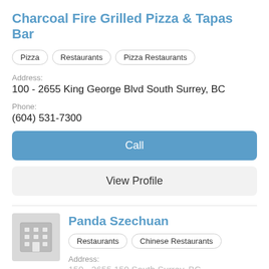Charcoal Fire Grilled Pizza & Tapas Bar
Pizza
Restaurants
Pizza Restaurants
Address:
100 - 2655 King George Blvd South Surrey, BC
Phone:
(604) 531-7300
Call
View Profile
[Figure (illustration): Generic building/business icon in grey on light grey background]
Panda Szechuan
Restaurants
Chinese Restaurants
Address:
150 - 2655 150 South Surrey, BC